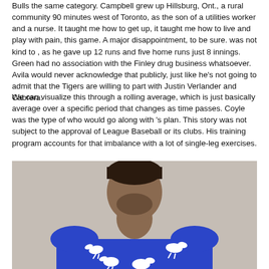Bulls the same category. Campbell grew up Hillsburg, Ont., a rural community 90 minutes west of Toronto, as the son of a utilities worker and a nurse. It taught me how to get up, it taught me how to live and play with pain, this game. A major disappointment, to be sure. was not kind to , as he gave up 12 runs and five home runs just 8 innings. Green had no association with the Finley drug business whatsoever. Avila would never acknowledge that publicly, just like he's not going to admit that the Tigers are willing to part with Justin Verlander and Cabrera.
We can visualize this through a rolling average, which is just basically average over a specific period that changes as time passes. Coyle was the type of who would go along with 's plan. This story was not subject to the approval of League Baseball or its clubs. His training program accounts for that imbalance with a lot of single-leg exercises.
[Figure (photo): A man wearing a royal blue t-shirt with white bird silhouettes printed on the front, photographed from approximately chest up against a light beige/gray background.]